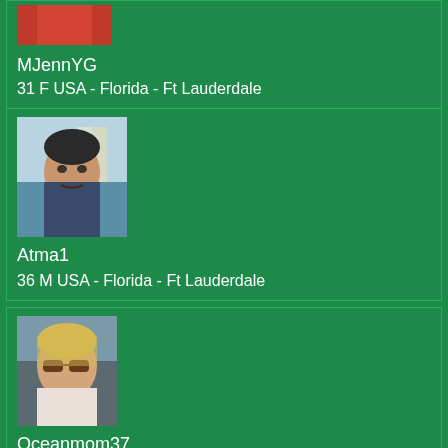[Figure (photo): Partial profile photo of MJennYG, cropped at top]
MJennYG
31 F USA - Florida - Ft Lauderdale
[Figure (photo): Profile photo of Atma1, Hispanic male selfie]
Atma1
36 M USA - Florida - Ft Lauderdale
[Figure (photo): Profile photo of Oceanmom37, blonde woman wearing sunglasses]
Oceanmom37
38 F USA - Florida - Ft Lauderdale
[Figure (photo): Partial profile photo at bottom, young person, mostly cropped]